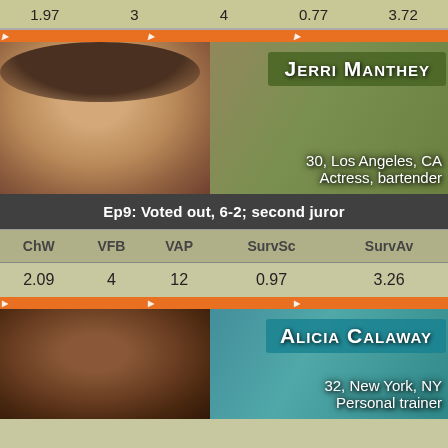| ChW | VFB | VAP | SurvSc | SurvAv |
| --- | --- | --- | --- | --- |
| 1.97 | 3 | 4 | 0.77 | 3.72 |
[Figure (photo): Photo card for Jerri Manthey with orange Survivor logo bar, green name overlay, and contestant info]
Ep9: Voted out, 6-2; second juror
| ChW | VFB | VAP | SurvSc | SurvAv |
| --- | --- | --- | --- | --- |
| 2.09 | 4 | 12 | 0.97 | 3.26 |
[Figure (photo): Photo card for Alicia Calaway with orange Survivor logo bar, teal name overlay, and contestant info]